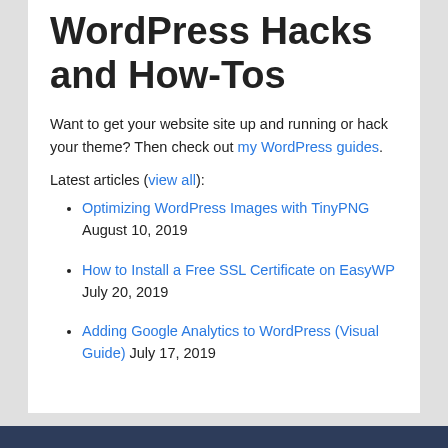WordPress Hacks and How-Tos
Want to get your website site up and running or hack your theme? Then check out my WordPress guides.
Latest articles (view all):
Optimizing WordPress Images with TinyPNG August 10, 2019
How to Install a Free SSL Certificate on EasyWP July 20, 2019
Adding Google Analytics to WordPress (Visual Guide) July 17, 2019